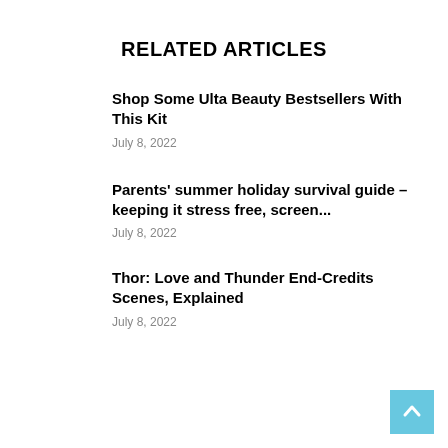RELATED ARTICLES
Shop Some Ulta Beauty Bestsellers With This Kit
July 8, 2022
Parents’ summer holiday survival guide – keeping it stress free, screen...
July 8, 2022
Thor: Love and Thunder End-Credits Scenes, Explained
July 8, 2022